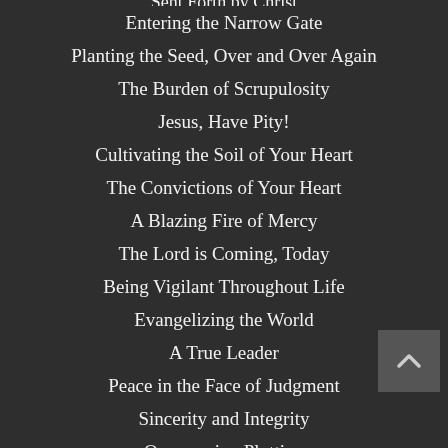Sent Forth by Christ
Entering the Narrow Gate
Planting the Seed, Over and Over Again
The Burden of Scrupulosity
Jesus, Have Pity!
Cultivating the Soil of Your Heart
The Convictions of Your Heart
A Blazing Fire of Mercy
The Lord is Coming, Today
Being Vigilant Throughout Life
Evangelizing the World
A True Leader
Peace in the Face of Judgment
Sincerity and Integrity
Overcoming Plotting